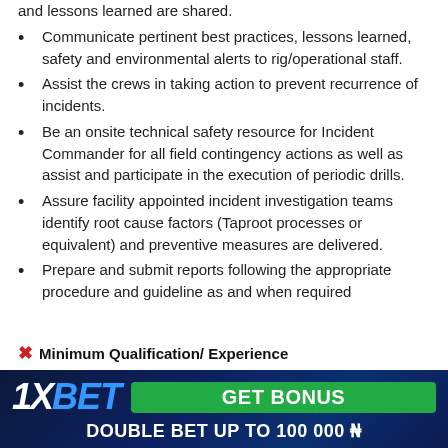and lessons learned are shared.
Communicate pertinent best practices, lessons learned, safety and environmental alerts to rig/operational staff.
Assist the crews in taking action to prevent recurrence of incidents.
Be an onsite technical safety resource for Incident Commander for all field contingency actions as well as assist and participate in the execution of periodic drills.
Assure facility appointed incident investigation teams identify root cause factors (Taproot processes or equivalent) and preventive measures are delivered.
Prepare and submit reports following the appropriate procedure and guideline as and when required
Minimum Qualification/ Experience
[Figure (illustration): 1XBET advertisement banner with GET BONUS button and text DOUBLE BET UP TO 100 000 ₦]